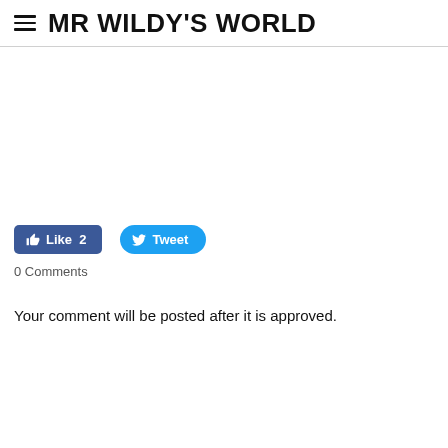MR WILDY'S WORLD
[Figure (other): Blank white content area (advertisement or image placeholder)]
Like 2   Tweet
0 Comments
Your comment will be posted after it is approved.